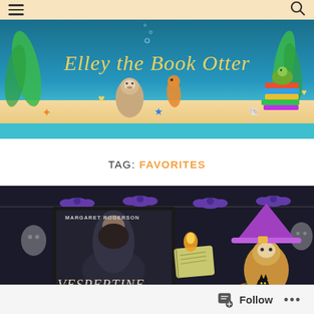Navigation header with hamburger menu and search icon
[Figure (illustration): Colorful underwater/beach themed blog banner reading 'Elley the Book Otter' in gold script, featuring illustrated otter, seahorse, octopus, turtle on stack of books, seaweed, starfish, and seashells on teal and sandy background]
TAG: FAVORITES
[Figure (illustration): Halloween-themed blog post banner with dark background, purple bats on string lights, ghosts, a book with heart flame, an otter wearing a purple witch hat with a black cat, and a book cover for 'Vespertine' by Margaret Rogerson with pumpkins]
Follow  ...